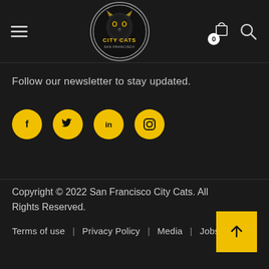[Figure (logo): San Francisco City Cats logo — circular badge with panther face and yellow text 'CITY CATS']
Follow our newsletter to stay updated.
[Figure (infographic): Four yellow circular social media icons: Facebook (f), Twitter (bird), LinkedIn (in), Instagram (camera)]
Copyright © 2022 San Francisco City Cats. All Rights Reserved.
Terms of use  |  Privacy Policy  |  Media  |  Jobs